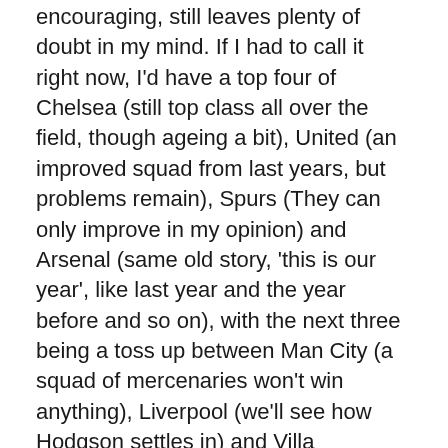encouraging, still leaves plenty of doubt in my mind. If I had to call it right now, I'd have a top four of Chelsea (still top class all over the field, though ageing a bit), United (an improved squad from last years, but problems remain), Spurs (They can only improve in my opinion) and Arsenal (same old story, 'this is our year', like last year and the year before and so on), with the next three being a toss up between Man City (a squad of mercenaries won't win anything), Liverpool (we'll see how Hodgson settles in) and Villa (depends on Milner a lot). A lot of other teams have the potential to challenge for a place in that chasing pack – Fulham, Everton, Birmingham – so we'll see if one of them can make a prolonged challenge.
And Blackpool, West Brom and Wolves to go down.
We'll see how I get on, prediction wise, in nine months